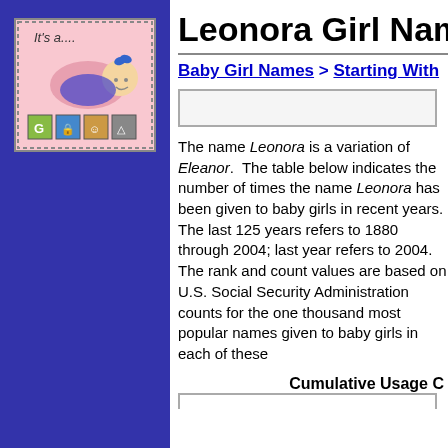[Figure (illustration): Cartoon illustration of a baby girl on a pink background with toy blocks, text 'It's a....' at top]
Leonora Girl Name
Baby Girl Names > Starting With
The name Leonora is a variation of Eleanor. The table below indicates the number of times the name Leonora has been given to baby girls in recent years. The last 125 years refers to 1880 through 2004; last year refers to 2004. The rank and count values are based on U.S. Social Security Administration counts for the one thousand most popular names given to baby girls in each of these
Cumulative Usage C